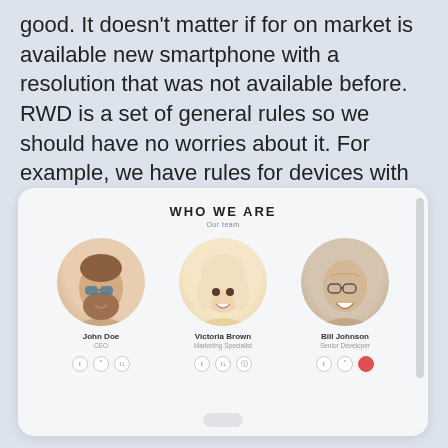good. It doesn't matter if for on market is available new smartphone with a resolution that was not available before. RWD is a set of general rules so we should have no worries about it. For example, we have rules for devices with width below 480px, not for Samsung Galaxy S8 or iPhone 7.
[Figure (screenshot): Screenshot of a tablet displaying a 'Who We Are - Our Team' webpage with three team members: John Doe (CEO), Victoria Brown (Marketing Specialist), and Bill Johnson (Senior Developer), each with a circular photo and social media icons below.]